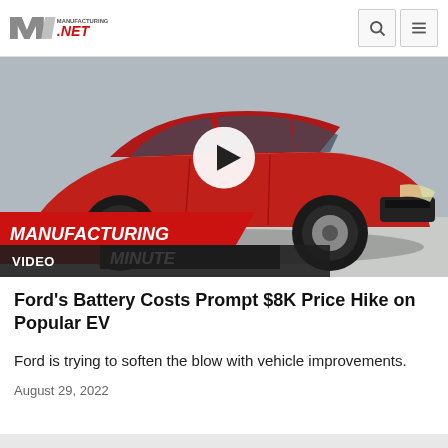Manufacturing.net
[Figure (screenshot): Video thumbnail showing a red Ford Mustang Mach-E SUV with a play button overlay and 'Manufacturing Minute' branding text. A dark bar at the bottom reads 'VIDEO'.]
Ford's Battery Costs Prompt $8K Price Hike on Popular EV
Ford is trying to soften the blow with vehicle improvements.
August 29, 2022